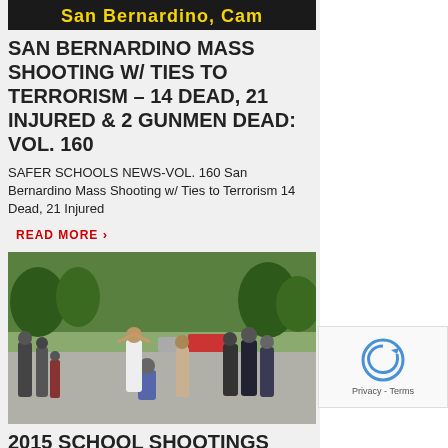[Figure (photo): San Bernardino news article header image with yellow text on dark background reading 'San Bernardino, Cam']
SAN BERNARDINO MASS SHOOTING W/ TIES TO TERRORISM – 14 DEAD, 21 INJURED & 2 GUNMEN DEAD: VOL. 160
SAFER SCHOOLS NEWS-VOL. 160 San Bernardino Mass Shooting w/ Ties to Terrorism 14 Dead, 21 Injured
READ MORE ›
[Figure (photo): Photo of people with hands on heads being escorted by law enforcement outdoors near trees]
2015 SCHOOL SHOOTINGS RISE TO 32 WITH 30 DEAD AN 53 INJURED: VOL. 159
SAFER SCHOOLS NEWS-VOL. 159 School Shootings rise to 32 with 30 Dead an 53 injured